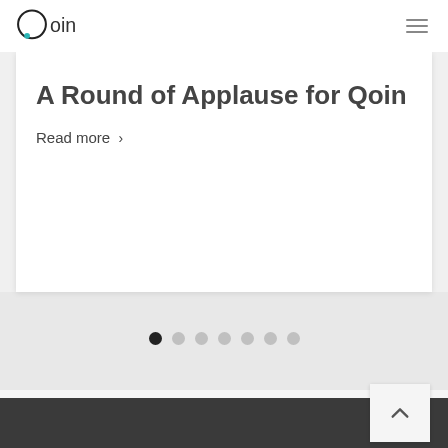[Figure (logo): Qoin logo — circular Q with a teal dot, followed by 'oin' in dark gray text]
A Round of Applause for Qoin
Read more ›
[Figure (infographic): Slider pagination dots — 7 dots in a row, first dot is dark/active, remaining 6 are light gray]
[Figure (other): Back to top chevron button (upward caret on light background) in lower right corner]